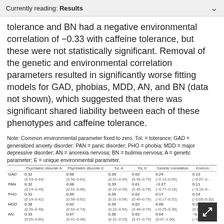Currently reading: Results
tolerance and BN had a negative environmental correlation of −0.33 with caffeine tolerance, but these were not statistically significant. Removal of the genetic and environmental correlation parameters resulted in significantly worse fitting models for GAD, phobias, MDD, AN, and BN (data not shown), which suggested that there was significant shared liability between each of these phenotypes and caffeine tolerance.
Note: Common environmental parameter fixed to zero. Tol. = tolerance; GAD = generalized anxiety disorder; PAN = panic disorder; PHO = phobia; MDD = major depressive disorder; AN = anorexia nervosa; BN = bulimia nervosa; A = genetic parameter; E = unique environmental parameter.
|  | Psychiatric disorder A | Psychiatric disorder E | Tol. A | Tol. E | Genetic correlation | Environ... |
| --- | --- | --- | --- | --- | --- | --- |
| GAD | 0.32 | 0.68 | 0.38 | 0.62 | 0.24 | 0.13 |
|  | (0.19–0.44) | (0.56–0.81) | (0.21–0.54) | (0.46–0.79) | (−0.12–0.60) | (−0.07–0... |
| PAN | 0.32 | 0.68 | 0.39 | 0.61 | −0.27 | 0.11 |
|  | (0.14–0.49) | (0.51–0.86) | (0.22–0.54) | (0.46–0.78) | (−0.77–0.16) | (−0.15–0... |
| PHO | 0.31 | 0.69 | 0.38 | 0.62 | 0.17 | 0.14 |
|  | (0.19–0.42) | (0.58–0.81) | (0.21–0.54) | (0.46–0.79) | (−0.17–0.52) | (−0.05–0.32) |
| MDD | 0.38 | 0.62 | 0.39 | 0.62 | 0.08 | 0.23 |
|  | (0.26–0.48) | (0.52–0.74) | (0.22–0.54) | (0.46–0.79) | (−0.25–0.38) | (0.04–0.42) |
| AN | 0.33 | 0.67 | 0.38 | 0.62 | 0.64 | −0.12 |
|  | (0.05–0.60) | (0.41–0.96) | (0.21–0.53) | (0.47–0.79) | (0.07–1.00) | (−0.46–0.24) |